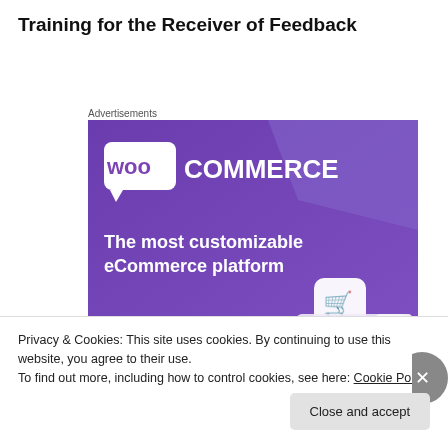Training for the Receiver of Feedback
Advertisements
[Figure (illustration): WooCommerce advertisement banner with purple background showing the WooCommerce logo and text 'The most customizable eCommerce platform' with a shopping cart icon and 'Start a new store' button]
Privacy & Cookies: This site uses cookies. By continuing to use this website, you agree to their use.
To find out more, including how to control cookies, see here: Cookie Policy
Close and accept